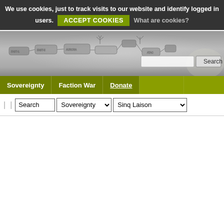We use cookies, just to track visits to our website and identify logged in users. ACCEPT COOKIES What are cookies?
[Figure (screenshot): Website header background image showing a dark grey sci-fi/tech themed banner with circuit-like diagrams and glowing elements]
Sovereignty | Faction War | Donate
| | Search Sovereignty Sinq Laison